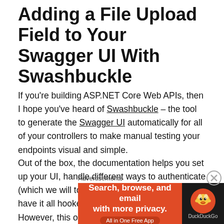Adding a File Upload Field to Your Swagger UI With Swashbuckle
If you're building ASP.NET Core Web APIs, then I hope you've heard of Swashbuckle – the tool to generate the Swagger UI automatically for all of your controllers to make manual testing your endpoints visual and simple.
Out of the box, the documentation helps you set up your UI, handle different ways to authenticate (which we will touch on in a later post), and have it all hooked up to your controllers. However, this only handles the most common cases of required requests with query string parameters and HTTP Body content.
[Figure (infographic): DuckDuckGo advertisement banner: orange left side with text 'Search, browse, and email with more privacy. All in One Free App' and dark right side with DuckDuckGo duck logo and brand name. Labeled 'Advertisements' above.]